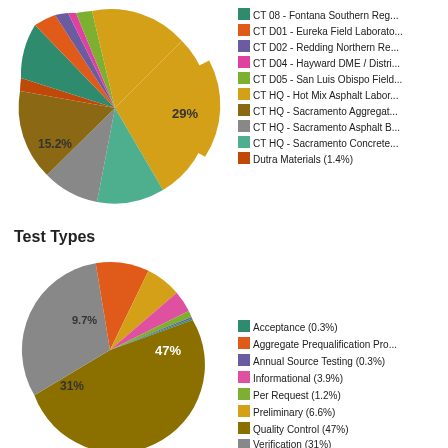[Figure (pie-chart): Labs (top chart)]
[Figure (pie-chart): Test Types]